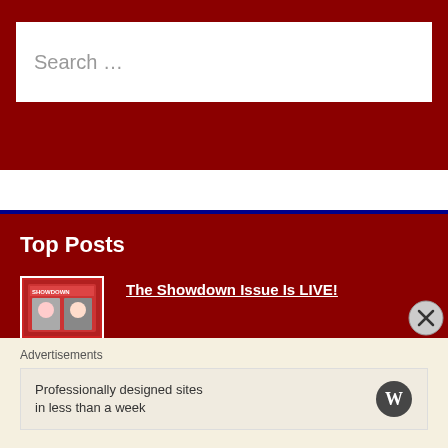Search …
Top Posts
The Showdown Issue Is LIVE!
SHHH! Lesbian Doesn't Ship Casey and Izzie on "Atypical"
Living on Welfare, by Jon Bon Jobless
Advertisements
Professionally designed sites in less than a week